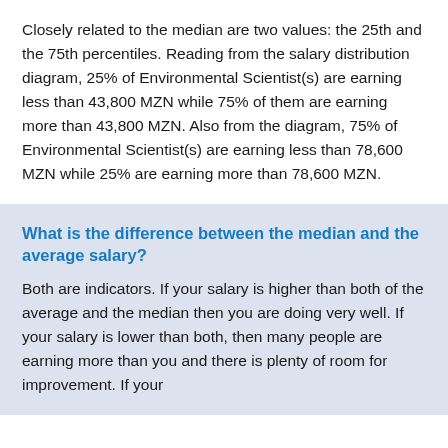Closely related to the median are two values: the 25th and the 75th percentiles. Reading from the salary distribution diagram, 25% of Environmental Scientist(s) are earning less than 43,800 MZN while 75% of them are earning more than 43,800 MZN. Also from the diagram, 75% of Environmental Scientist(s) are earning less than 78,600 MZN while 25% are earning more than 78,600 MZN.
What is the difference between the median and the average salary?
Both are indicators. If your salary is higher than both of the average and the median then you are doing very well. If your salary is lower than both, then many people are earning more than you and there is plenty of room for improvement. If your